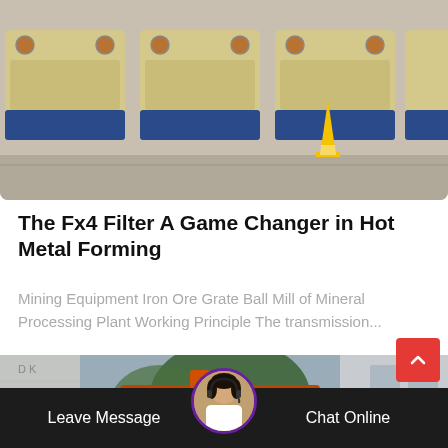[Figure (photo): Row of large yellow and blue industrial mining/crushing machines parked in a facility]
The Fx4 Filter A Game Changer in Hot Metal Forming
Mining Equipment Iron Ore Grate Ball Mill of Mineral Processing Plant Working Principle The transmission...
[Figure (photo): Large orange industrial crushing or processing equipment outdoors near a building]
Leave Message   Chat Online